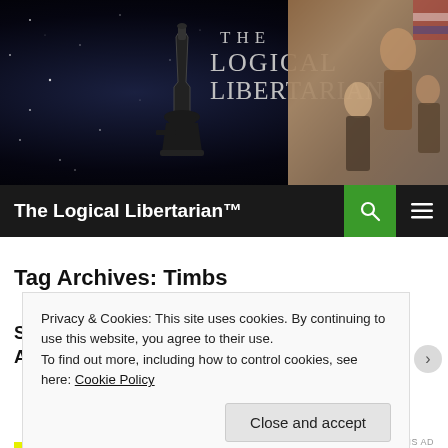[Figure (illustration): Website banner with dark starry background, microscope/gun icon, stylized text 'THE LOGICAL LIBERTARIAN' in gray serif font, and a painting of historical figures on the right side.]
The Logical Libertarian™
Tag Archives: Timbs
Privacy & Cookies: This site uses cookies. By continuing to use this website, you agree to their use. To find out more, including how to control cookies, see here: Cookie Policy
Close and accept